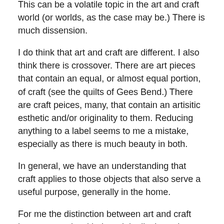This can be a volatile topic in the art and craft world (or worlds, as the case may be.)  There is much dissension.
I do think that art and craft are different.  I also think there is crossover.  There are art pieces that contain an equal, or almost equal portion, of craft (see the quilts of Gees Bend.)   There are craft peices, many, that contain an artisitic esthetic and/or originality to them.  Reducing anything to a label seems to me a mistake, especially as there is much beauty in both.
In general, we have an understanding that craft applies to those objects that also serve a useful purpose, generally in the home.
For me the distinction between art and craft has more to do with the originality brought to the creation, the idea/vision, the techniques and how they are applied,